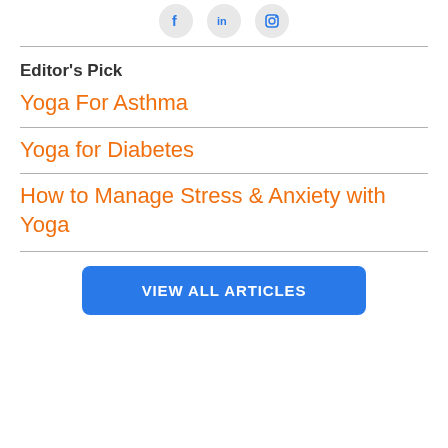[Figure (other): Social media icons: Facebook, LinkedIn, Instagram in light grey circles]
Editor's Pick
Yoga For Asthma
Yoga for Diabetes
How to Manage Stress & Anxiety with Yoga
VIEW ALL ARTICLES